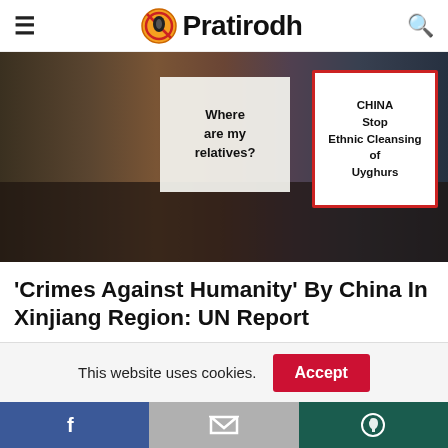Pratirodh
[Figure (photo): Protest photo showing people holding signs reading 'Where are my relatives?' and 'CHINA Stop Ethnic Cleansing of Uyghurs']
'Crimes Against Humanity' By China In Xinjiang Region: UN Report
RECENT POSTS
[Figure (photo): Recent post thumbnail image]
This website uses cookies.
Facebook | Gmail | WhatsApp social sharing bar